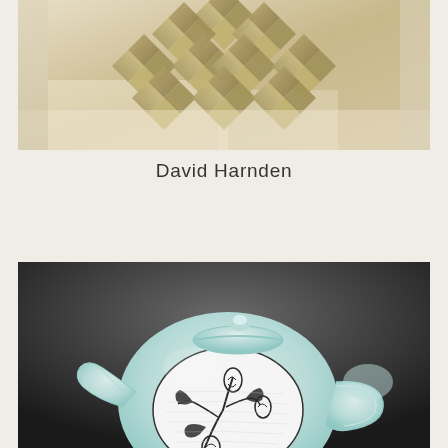[Figure (photo): Geometric sculptural wall installation with 3D angular bronze/gold metallic shapes arranged in a star-like or diamond pattern, photographed against a bright background.]
David Harnden
[Figure (photo): Close-up photograph of a decorative ceramic teapot with pale blue/celadon glaze, featuring hand-painted black and white botanical motifs of leaves and onion-like bulbs on the body, set against a dark background.]